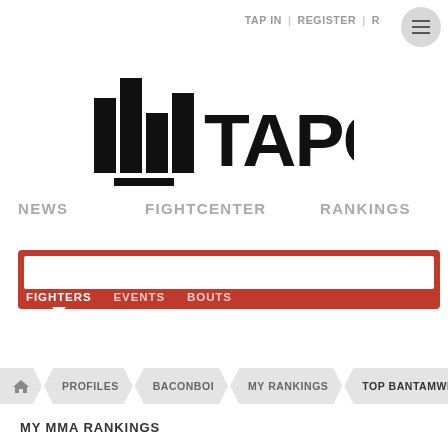TAP IN | REGISTER |
[Figure (logo): Tapology logo with stylized bar graph and TAPOL text]
NEWS   FIGHTCENTER   RANKINGS
Search input with tabs: FIGHTERS | EVENTS | BOUTS
PROFILES > BACONBOI > MY RANKINGS > TOP BANTAMWE...
MY MMA RANKINGS